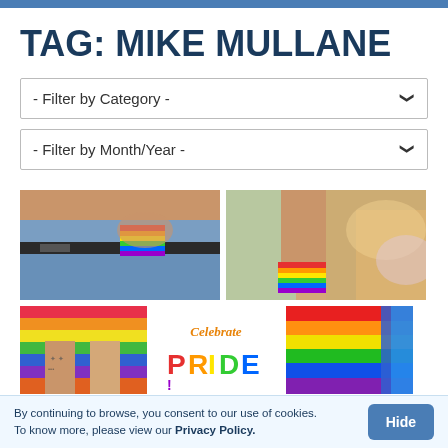TAG: MIKE MULLANE
- Filter by Category -
- Filter by Month/Year -
[Figure (photo): Two people holding hands with rainbow flag face paint on their hands, wearing denim jeans with belt]
[Figure (photo): Person raising arms with rainbow flag wristband at a pride parade, colorful blurred background]
[Figure (photo): Two people holding hands with rainbow flag in background, tattoos visible on arms]
[Figure (illustration): Celebrate Pride text graphic with colorful letters in rainbow colors on white background]
[Figure (photo): Rainbow pride flag close-up with vivid colors]
By continuing to browse, you consent to our use of cookies. To know more, please view our Privacy Policy.